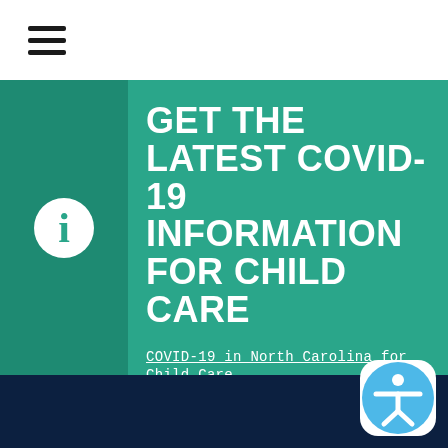Navigation menu (hamburger icon)
GET THE LATEST COVID-19 INFORMATION FOR CHILD CARE
COVID-19 in North Carolina for Child Care
[Figure (illustration): Accessibility icon button (person with arms outstretched in blue rounded square)]